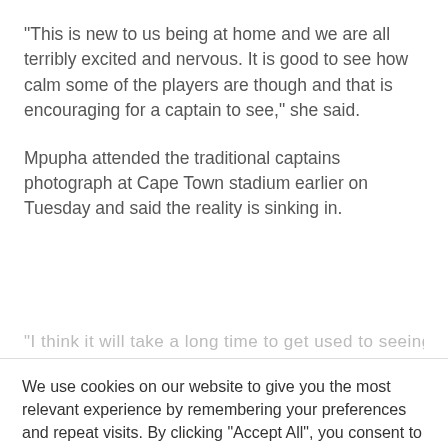“This is new to us being at home and we are all terribly excited and nervous. It is good to see how calm some of the players are though and that is encouraging for a captain to see,” she said.
Mpupha attended the traditional captains photograph at Cape Town stadium earlier on Tuesday and said the reality is sinking in.
[partially visible/cut-off text]
We use cookies on our website to give you the most relevant experience by remembering your preferences and repeat visits. By clicking “Accept All”, you consent to the use of ALL the cookies. However, you may visit “Cookie Settings” to provide a controlled consent. Read more.